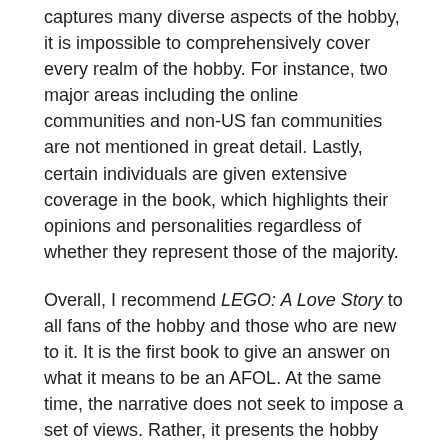captures many diverse aspects of the hobby, it is impossible to comprehensively cover every realm of the hobby. For instance, two major areas including the online communities and non-US fan communities are not mentioned in great detail. Lastly, certain individuals are given extensive coverage in the book, which highlights their opinions and personalities regardless of whether they represent those of the majority.
Overall, I recommend LEGO: A Love Story to all fans of the hobby and those who are new to it. It is the first book to give an answer on what it means to be an AFOL. At the same time, the narrative does not seek to impose a set of views. Rather, it presents the hobby without glorifying or criticizing it and lets you form your own conclusions.
There are additional reviews of the book by LEGO fans Mariann Asanuma and Bruce Heitbrink. You can download Chapter 16, "A Guest in LEGO's House" as a sample. The book is available on Amazon.com.